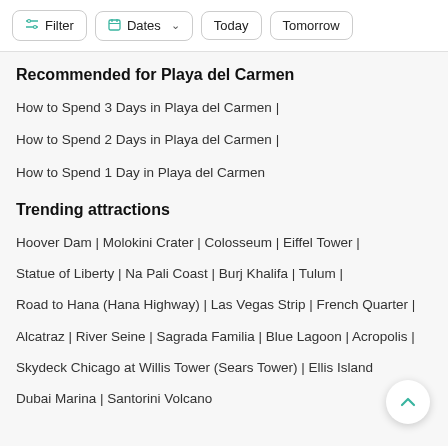Filter | Dates | Today | Tomorrow
Recommended for Playa del Carmen
How to Spend 3 Days in Playa del Carmen |
How to Spend 2 Days in Playa del Carmen |
How to Spend 1 Day in Playa del Carmen
Trending attractions
Hoover Dam | Molokini Crater | Colosseum | Eiffel Tower |
Statue of Liberty | Na Pali Coast | Burj Khalifa | Tulum |
Road to Hana (Hana Highway) | Las Vegas Strip | French Quarter |
Alcatraz | River Seine | Sagrada Familia | Blue Lagoon | Acropolis |
Skydeck Chicago at Willis Tower (Sears Tower) | Ellis Island
Dubai Marina | Santorini Volcano